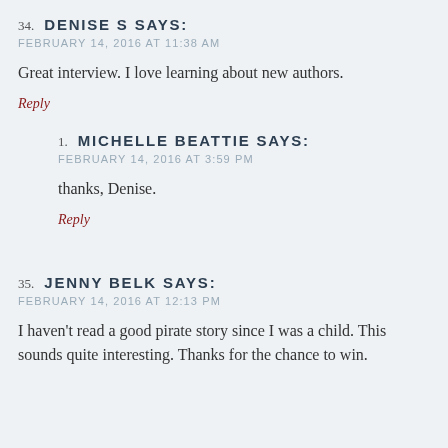34. DENISE S SAYS:
FEBRUARY 14, 2016 AT 11:38 AM
Great interview. I love learning about new authors.
Reply
1. MICHELLE BEATTIE SAYS:
FEBRUARY 14, 2016 AT 3:59 PM
thanks, Denise.
Reply
35. JENNY BELK SAYS:
FEBRUARY 14, 2016 AT 12:13 PM
I haven't read a good pirate story since I was a child. This sounds quite interesting. Thanks for the chance to win.